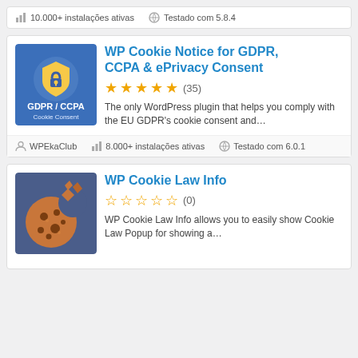10.000+ instalações ativas   Testado com 5.8.4
[Figure (illustration): GDPR/CCPA Cookie Consent plugin icon — blue background with shield and lock icon, text 'GDPR / CCPA Cookie Consent']
WP Cookie Notice for GDPR, CCPA & ePrivacy Consent
★★★★★ (35)
The only WordPress plugin that helps you comply with the EU GDPR's cookie consent and...
WPEkaClub
8.000+ instalações ativas   Testado com 6.0.1
[Figure (illustration): WP Cookie Law Info plugin icon — dark blue background with a chocolate chip cookie illustration]
WP Cookie Law Info
☆☆☆☆☆ (0)
WP Cookie Law Info allows you to easily show Cookie Law Popup for showing a...